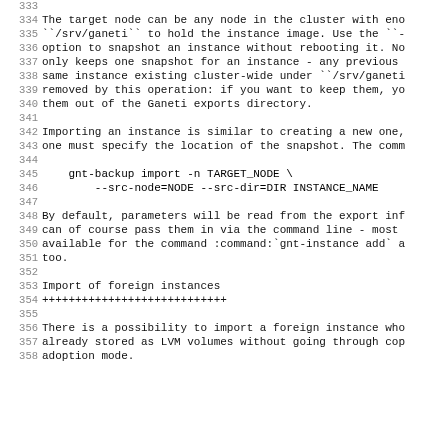333
334 The target node can be any node in the cluster with eno
335 ``/srv/ganeti`` to hold the instance image. Use the ``-
336 option to snapshot an instance without rebooting it. No
337 only keeps one snapshot for an instance - any previous
338 same instance existing cluster-wide under ``/srv/ganeti
339 removed by this operation: if you want to keep them, yo
340 them out of the Ganeti exports directory.
341
342 Importing an instance is similar to creating a new one,
343 one must specify the location of the snapshot. The comm
344
345     gnt-backup import -n TARGET_NODE \
346         --src-node=NODE --src-dir=DIR INSTANCE_NAME
347
348 By default, parameters will be read from the export inf
349 can of course pass them in via the command line - most
350 available for the command :command:`gnt-instance add` a
351 too.
352
353 Import of foreign instances
354 ++++++++++++++++++++++++++++
355
356 There is a possibility to import a foreign instance who
357 already stored as LVM volumes without going through cop
358 adoption mode.